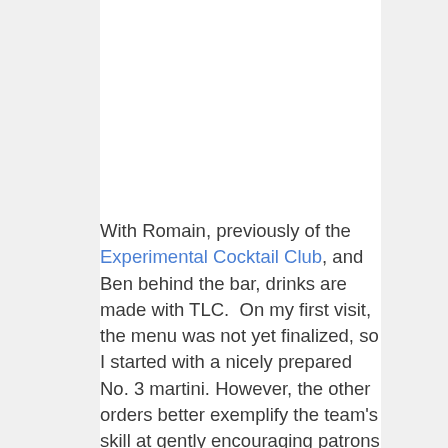With Romain, previously of the Experimental Cocktail Club, and Ben behind the bar, drinks are made with TLC.  On my first visit, the menu was not yet finalized, so I started with a nicely prepared No. 3 martini. However, the other orders better exemplify the team's skill at gently encouraging patrons to try something just a little different. Since Kasia had been considering a dark and